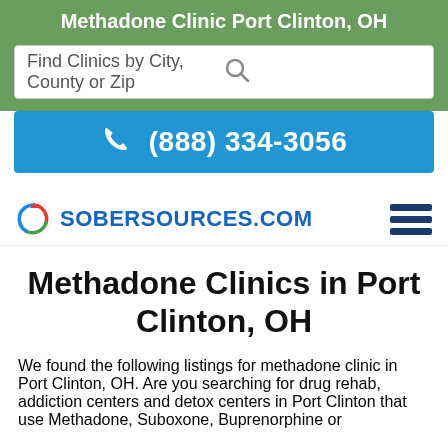Methadone Clinic Port Clinton, OH
Find Clinics by City, County or Zip
(888) 334-3056
[Figure (logo): SoberSources.com logo with circular arrow icon in red, green, blue]
Methadone Clinics in Port Clinton, OH
We found the following listings for methadone clinic in Port Clinton, OH. Are you searching for drug rehab, addiction centers and detox centers in Port Clinton that use Methadone, Suboxone, Buprenorphine or